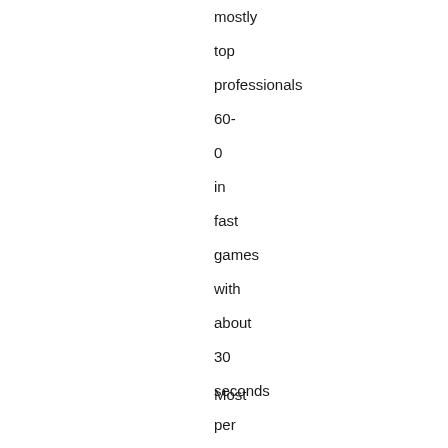mostly top professionals 60- 0 in fast games with about 30 seconds per move. It was revealed that this is an upgraded version of AlphaGo.
Most people were impressed not